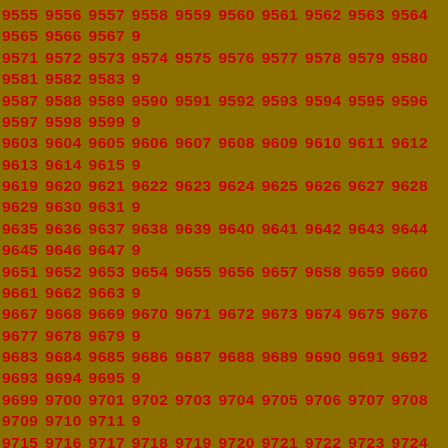9555 9556 9557 9558 9559 9560 9561 9562 9563 9564 9565 9566 9567 9568 9569 9570 9571 9572 9573 9574 9575 9576 9577 9578 9579 9580 9581 9582 9583 9584 9585 9586 9587 9588 9589 9590 9591 9592 9593 9594 9595 9596 9597 9598 9599 9600 9601 9602 9603 9604 9605 9606 9607 9608 9609 9610 9611 9612 9613 9614 9615 9616 9617 9618 9619 9620 9621 9622 9623 9624 9625 9626 9627 9628 9629 9630 9631 9632 9633 9634 9635 9636 9637 9638 9639 9640 9641 9642 9643 9644 9645 9646 9647 9648 9649 9650 9651 9652 9653 9654 9655 9656 9657 9658 9659 9660 9661 9662 9663 9664 9665 9666 9667 9668 9669 9670 9671 9672 9673 9674 9675 9676 9677 9678 9679 9680 9681 9682 9683 9684 9685 9686 9687 9688 9689 9690 9691 9692 9693 9694 9695 9696 9697 9698 9699 9700 9701 9702 9703 9704 9705 9706 9707 9708 9709 9710 9711 9712 9713 9714 9715 9716 9717 9718 9719 9720 9721 9722 9723 9724 9725 9726 9727 9728 9729 9730 9731 9732 9733 9734 9735 9736 9737 9738 9739 9740 9741 9742 9743 9744 9745 9746 9747 9748 9749 9750 9751 9752 9753 9754 9755 9756 9757 9758 9759 9760 9761 9762 9763 9764 9765 9766 9767 9768 9769 9770 9771 9772 9773 9774 9775 9776 9777 9778 9779 9780 9781 9782 9783 9784 9785 9786 9787 9788 9789 9790 9791 9792 9793 9794 9795 9796 9797 9798 9799 9800 9801 9802 9803 9804 9805 9806 9807 9808 9809 9810 9811 9812 9813 9814 9815 9816 9817 9818 9819 9820 9821 9822 9823 9824 9825 9826 9827 9828 9829 9830 9831 9832 9833 9834 9835 9836 9837 9838 9839 9840 9841 9842 9843 9844 9845 9846 9847 9848 9849 9850 9851 9852 9853 9854 9855 9856 9857 9858 9859 9860 9861 9862 9863 9864 9865 9866 9867 9868 9869 9870 9871 9872 9873 9874 9875 9876 9877 9878 9879 9880 9881 9882 9883 9884 9885 9886 9887 9888 9889 9890 9891